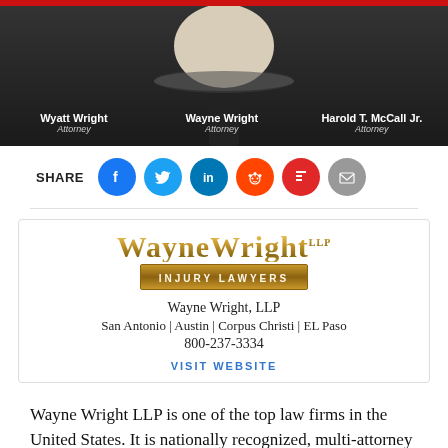[Figure (photo): Dark banner showing three attorneys: Wyatt Wright (Attorney), Wayne Wright (Attorney), Harold T. McCall Jr. (Attorney), with a cowboy hat silhouette in the center]
[Figure (infographic): SHARE row with social media icons: Facebook, Twitter, LinkedIn, Reddit, Flipboard, Email]
[Figure (logo): Wayne Wright LLP Injury Lawyers logo with gold lettering]
Wayne Wright, LLP
San Antonio | Austin | Corpus Christi | EL Paso
800-237-3334
VISIT WEBSITE
Wayne Wright LLP is one of the top law firms in the United States. It is nationally recognized, multi-attorney